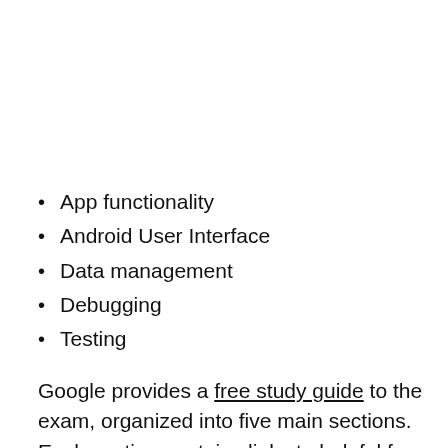App functionality
Android User Interface
Data management
Debugging
Testing
Google provides a free study guide to the exam, organized into five main sections. Each section contains links to helpful free courses from